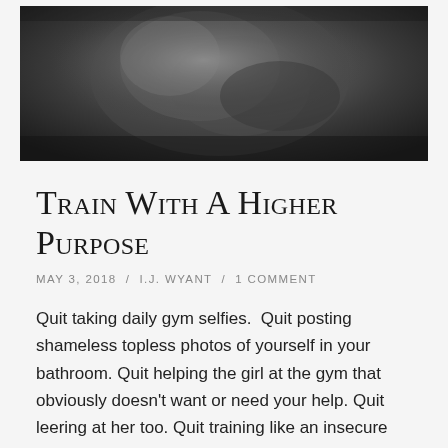[Figure (photo): Black and white close-up photograph of hands, possibly wrapping or gripping, with texture of skin and knuckles visible]
Train With A Higher Purpose
MAY 3, 2018  /  I.J. WYANT  /  1 COMMENT
Quit taking daily gym selfies.  Quit posting shameless topless photos of yourself in your bathroom. Quit helping the girl at the gym that obviously doesn't want or need your help. Quit leering at her too. Quit training like an insecure frat boy.